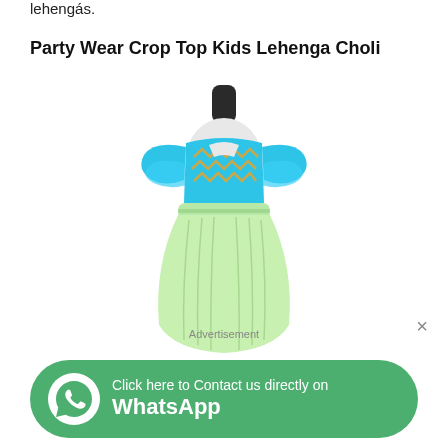lehengас.
Party Wear Crop Top Kids Lehenga Choli
[Figure (photo): A children's mannequin displaying a party wear outfit consisting of a bright turquoise/cyan ruffled crop top with gold zigzag embroidery trim, and a light mint green full skirt with an elastic waistband and drawstring tie.]
Advertisement
Click here to Contact us directly on WhatsApp